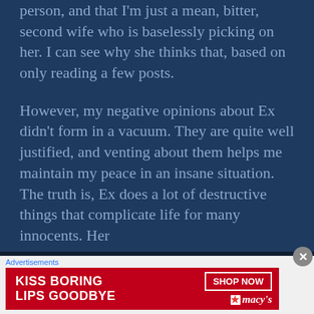person, and that I'm just a mean, bitter, second wife who is baselessly picking on her. I can see why she thinks that, based on only reading a few posts.
However, my negative opinions about Ex didn't form in a vacuum. They are quite well justified, and venting about them helps me maintain my peace in an insane situation. The truth is, Ex does a lot of destructive things that complicate life for many innocents. Her
Advertisements
[Figure (infographic): Macy's advertisement banner with red background showing a woman's face with red lips. Text reads 'KISS BORING LIPS GOODBYE' on the left and 'SHOP NOW' button with Macy's star logo on the right.]